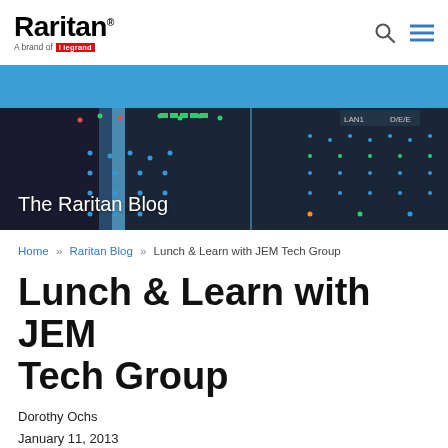Raritan® — A brand of Legrand
[Figure (screenshot): The Raritan Blog hero banner with blue header and dark server rack image showing colored LED lights]
The Raritan Blog
Home » Raritan Blog » Lunch & Learn with JEM Tech Group
Lunch & Learn with JEM Tech Group
Dorothy Ochs
January 11, 2013